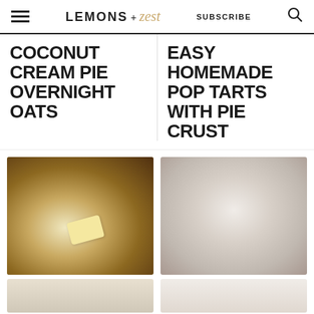LEMONS + zest | SUBSCRIBE
COCONUT CREAM PIE OVERNIGHT OATS
EASY HOMEMADE POP TARTS WITH PIE CRUST
[Figure (photo): Overhead view of a bowl with oats topped with a pat of butter]
[Figure (photo): Overhead view of a jar with coconut cream overnight oats]